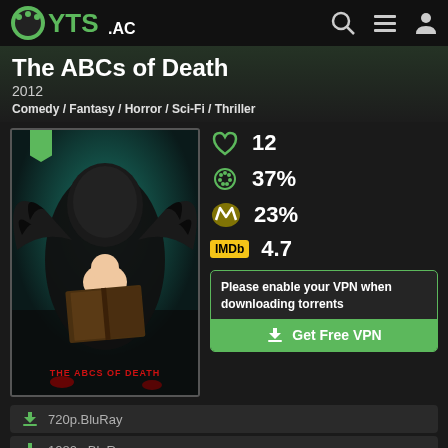[Figure (logo): YTS.AC logo - green circular icon with Y T S letters and .AC text]
The ABCs of Death
2012
Comedy / Fantasy / Horror / Sci-Fi / Thriller
[Figure (photo): Movie poster: dark winged creature holding a baby reading a large book, red title text THE ABCS OF DEATH at bottom, teal misty background]
12
37%
23%
4.7
Please enable your VPN when downloading torrents
Get Free VPN
720p.BluRay
1080p.BluRay